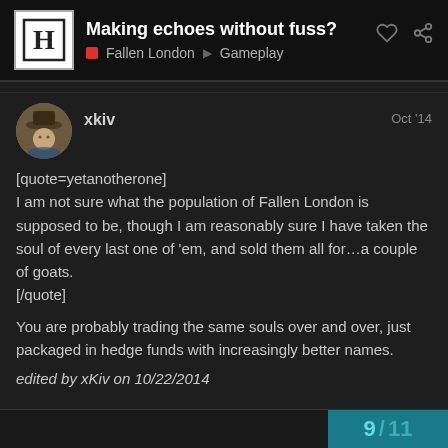Making echoes without fuss? — Fallen London Gameplay
[quote=yetanotherone]
I am not sure what the population of Fallen London is supposed to be, though I am reasonably sure I have taken the soul of every last one of 'em, and sold them all for…a couple of goats.
[/quote]

You are probably trading the same souls over and over, just packaged in hedge funds with increasingly better names.
edited by xKiv on 10/22/2014
9 / 11